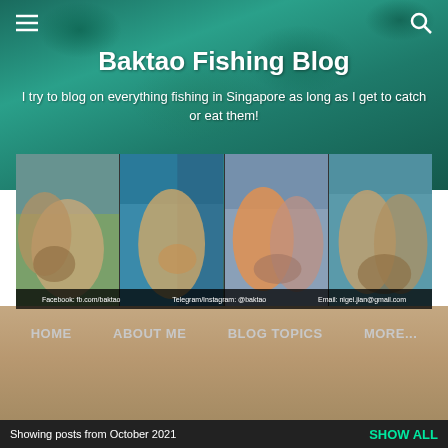≡  🔍
Baktao Fishing Blog
I try to blog on everything fishing in Singapore as long as I get to catch or eat them!
[Figure (photo): Four fishing trip photos showing people holding caught fish on a boat, with social media contact info overlay at bottom]
Facebook: fb.com/baktao    Telegram/Instagram: @baktao    Email: nigel.jian@gmail.com
HOME
ABOUT ME
BLOG TOPICS
MORE...
Showing posts from October 2021    SHOW ALL